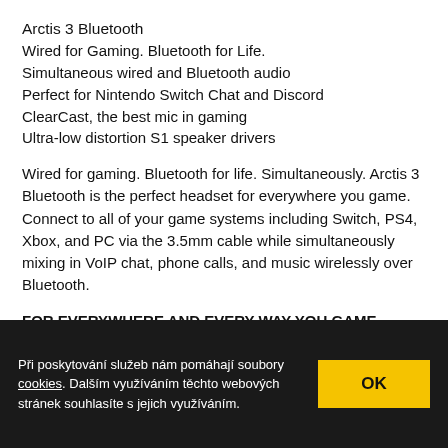Arctis 3 Bluetooth
Wired for Gaming. Bluetooth for Life.
Simultaneous wired and Bluetooth audio
Perfect for Nintendo Switch Chat and Discord
ClearCast, the best mic in gaming
Ultra-low distortion S1 speaker drivers
Wired for gaming. Bluetooth for life. Simultaneously. Arctis 3 Bluetooth is the perfect headset for everywhere you game. Connect to all of your game systems including Switch, PS4, Xbox, and PC via the 3.5mm cable while simultaneously mixing in VoIP chat, phone calls, and music wirelessly over Bluetooth.
FOR EVERYWHERE AND EVERY WAY YOU GAME
Remarkable sound, comfort and style on all gaming platforms, including PC, PlayStation, Xbox One, Nintendo Switch, VR and mobile.
Při poskytování služeb nám pomáhají soubory cookies. Dalším využíváním těchto webových stránek souhlasíte s jejich využíváním.